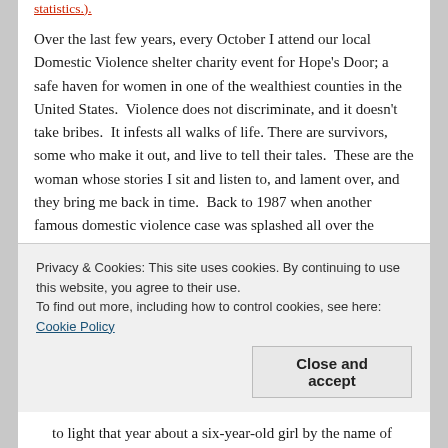statistics.).
Over the last few years, every October I attend our local Domestic Violence shelter charity event for Hope’s Door; a safe haven for women in one of the wealthiest counties in the United States.  Violence does not discriminate, and it doesn’t take bribes.  It infests all walks of life. There are survivors, some who make it out, and live to tell their tales.  These are the woman whose stories I sit and listen to, and lament over, and they bring me back in time.  Back to 1987 when another famous domestic violence case was splashed all over the headlines, and I’m reminded how very little has changed in all these years.
Privacy & Cookies: This site uses cookies. By continuing to use this website, you agree to their use.
To find out more, including how to control cookies, see here: Cookie Policy
Close and accept
to light that year about a six-year-old girl by the name of Lisa